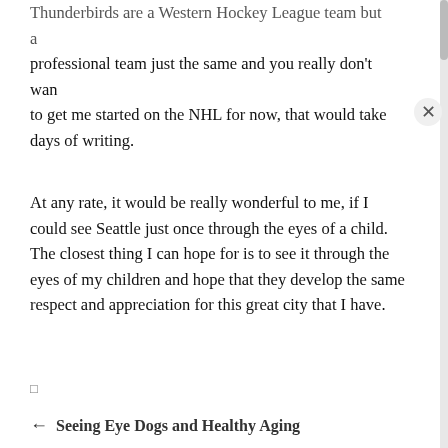Thunderbirds are a Western Hockey League team but a professional team just the same and you really don't want to get me started on the NHL for now, that would take days of writing.
At any rate, it would be really wonderful to me, if I could see Seattle just once through the eyes of a child. The closest thing I can hope for is to see it through the eyes of my children and hope that they develop the same respect and appreciation for this great city that I have.
← Seeing Eye Dogs and Healthy Aging